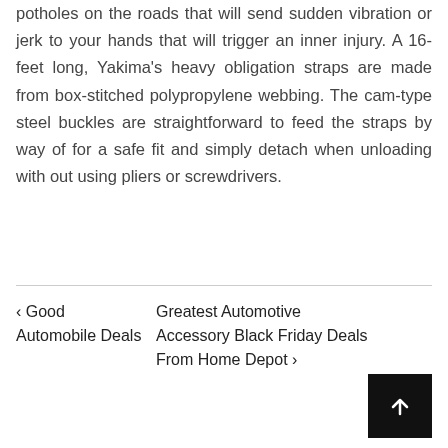potholes on the roads that will send sudden vibration or jerk to your hands that will trigger an inner injury. A 16-feet long, Yakima's heavy obligation straps are made from box-stitched polypropylene webbing. The cam-type steel buckles are straightforward to feed the straps by way of for a safe fit and simply detach when unloading with out using pliers or screwdrivers.
‹ Good Automobile Deals
Greatest Automotive Accessory Black Friday Deals From Home Depot ›